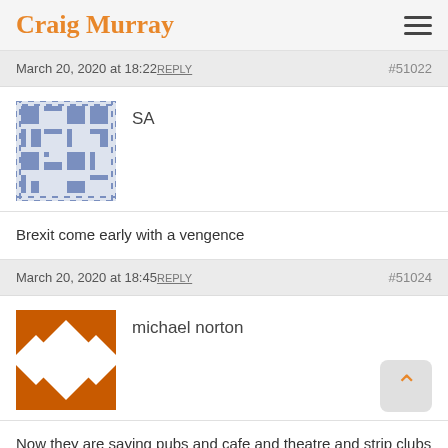Craig Murray
March 20, 2020 at 18:22  REPLY   #51022
SA
Brexit come early with a vengence
March 20, 2020 at 18:45  REPLY   #51024
michael norton
Now they are saying pubs and cafe and theatre and strip clubs and music halls have to close after tonight.
This is like the end of the World.
Worse crisis since the Spanish Flu.